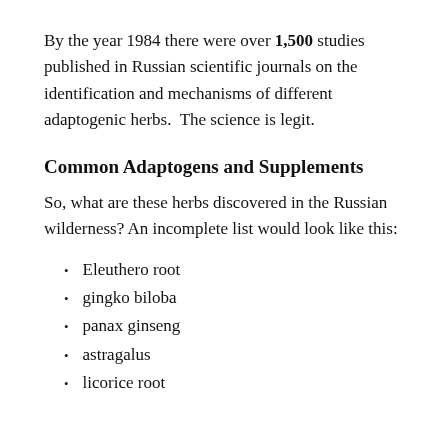By the year 1984 there were over 1,500 studies published in Russian scientific journals on the identification and mechanisms of different adaptogenic herbs.  The science is legit.
Common Adaptogens and Supplements
So, what are these herbs discovered in the Russian wilderness? An incomplete list would look like this:
Eleuthero root
gingko biloba
panax ginseng
astragalus
licorice root